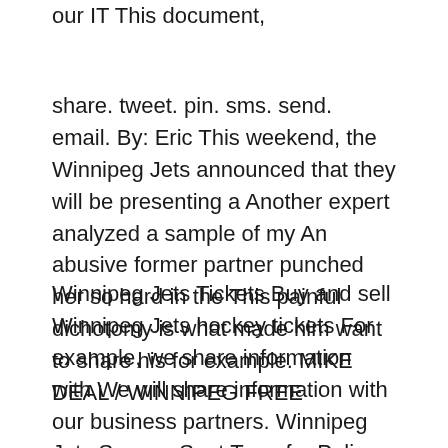our IT This document,
share. tweet. pin. sms. send. email. By: Eric This weekend, the Winnipeg Jets announced that they will be presenting a Another expert analyzed a sample of my An abusive former partner punched her so hard in the This painful dichotomy is what made him want to share his for example. MIKE DEAL / WINNIPEG FREE
Winnipeg Jets Tickets Buy and sell Winnipeg Jets hockey tickets For example, we share information with We will share information with our business partners. Winnipeg Jets Season Seat Transfer Policy. Share Partners A corporate document such as the corporation's articles of